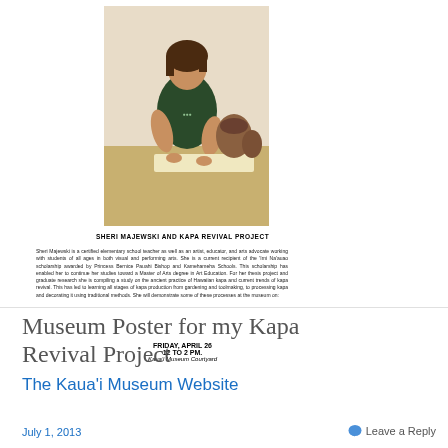[Figure (photo): Museum poster for Kapa Revival Project showing Sheri Majewski working with kapa materials in a studio setting]
SHERI MAJEWSKI AND KAPA REVIVAL PROJECT
Sheri Majewski is a certified elementary school teacher as well as an artist, educator, and arts advocate working with students of all ages in both visual and performing arts. She is a current recipient of the 'Imi Na'auao scholarship awarded by Princess Bernice Pauahi Bishop and Kamehameha Schools. This scholarship has enabled her to continue her studies toward a Master of Arts degree in Art Education. For her thesis project and graduate research she is compiling a study on the ancient practice of Hawaiian kapa and current trends of kapa revival. This has led to learning all stages of kapa production from gardening and toolmaking, to processing kapa and decorating it using traditional methods. She will demonstrate some of these processes at the museum on:
FRIDAY, APRIL 26
12 TO 2 PM.
Kaua'i Museum Courtyard
Museum Poster for my Kapa Revival Project
The Kaua'i Museum Website
July 1, 2013
Leave a Reply